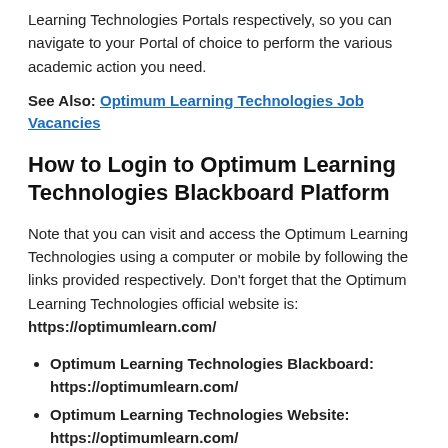Learning Technologies Portals respectively, so you can navigate to your Portal of choice to perform the various academic action you need.
See Also: Optimum Learning Technologies Job Vacancies
How to Login to Optimum Learning Technologies Blackboard Platform
Note that you can visit and access the Optimum Learning Technologies using a computer or mobile by following the links provided respectively. Don't forget that the Optimum Learning Technologies official website is:   https://optimumlearn.com/
Optimum Learning Technologies Blackboard: https://optimumlearn.com/
Optimum Learning Technologies Website: https://optimumlearn.com/